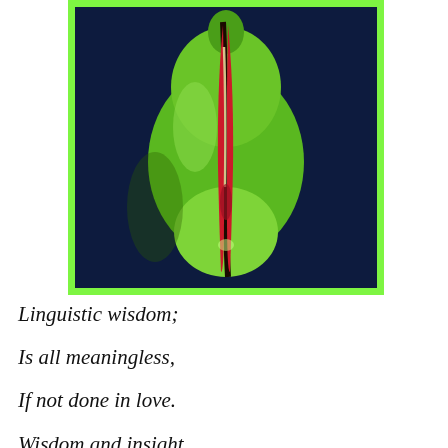[Figure (photo): Close-up photograph of a green fig or similar fruit splitting open to reveal red interior, set against a dark navy background, with a bright green border frame.]
Linguistic wisdom;

Is all meaningless,

If not done in love.

Wisdom and insight,

Vast understanding;